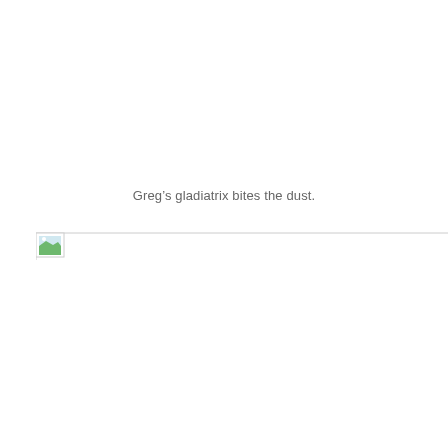Greg’s gladiatrix bites the dust.
[Figure (other): Broken image placeholder icon with a horizontal rule extending to the right edge of the page]